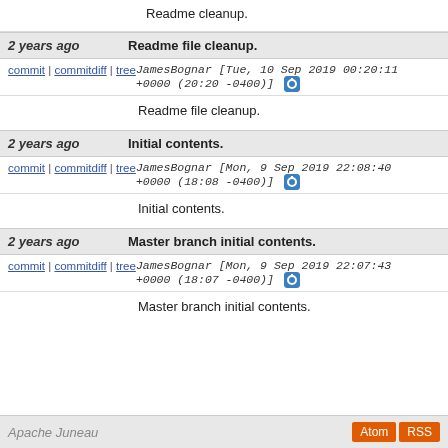Readme cleanup.
2 years ago | Readme file cleanup.
commit | commitdiff | tree JamesBognar [Tue, 10 Sep 2019 00:20:11 +0000 (20:20 -0400)]
Readme file cleanup.
2 years ago | Initial contents.
commit | commitdiff | tree JamesBognar [Mon, 9 Sep 2019 22:08:40 +0000 (18:08 -0400)]
Initial contents.
2 years ago | Master branch initial contents.
commit | commitdiff | tree JamesBognar [Mon, 9 Sep 2019 22:07:43 +0000 (18:07 -0400)]
Master branch initial contents.
Apache Juneau  Atom RSS